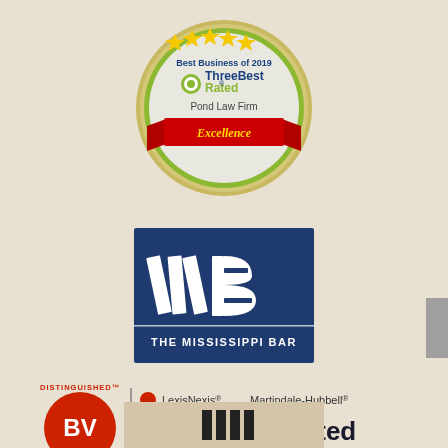[Figure (logo): ThreeBest Rated - Best Business of 2019 badge with gold stars, silver scalloped seal, green ring, and red Excellence ribbon banner. Text: Best Business of 2019, ThreeBest Rated, Pond Law Firm, Excellence]
[Figure (logo): The Mississippi Bar logo - dark blue rectangle with stylized MB monogram in white and text THE MISSISSIPPI BAR below]
[Figure (logo): BV Distinguished Peer Review Rated badge - LexisNexis Martindale-Hubbell Peer Review Rated for ethical standards and legal ability. Red circle with BV in white, vertical divider, text to the right.]
[Figure (logo): Partial bottom logo - beige/tan background with black barcode-style vertical stripes, partially visible]